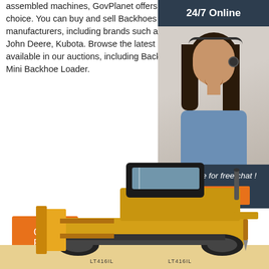assembled machines, GovPlanet offers you excellent choice. You can buy and sell Backhoes from any all manufacturers, including brands such as Case, Cat, John Deere, Kubota. Browse the latest Backhoes available in our auctions, including Backhoe Loader, Mini Backhoe Loader.
[Figure (illustration): 24/7 Online customer service sidebar with woman wearing headset and 'Click here for free chat! QUOTATION' button]
Get Price
[Figure (photo): Yellow bulldozer/backhoe construction machine labeled LT416IL photographed at a worksite]